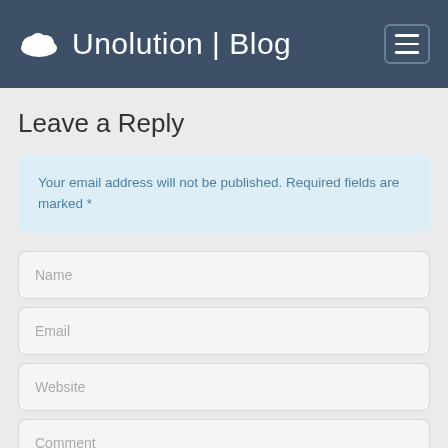Unolution | Blog
Leave a Reply
Your email address will not be published. Required fields are marked *
Name
Email
Website
Comment